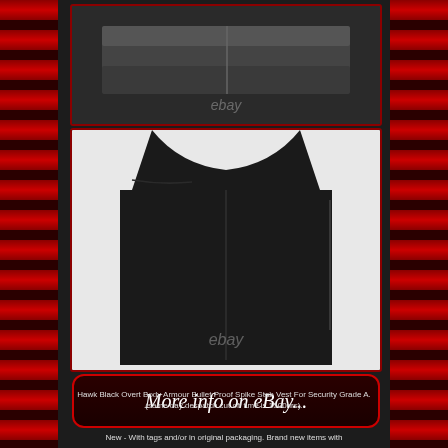[Figure (photo): Top view of folded black body armour/stab vest on white background with eBay watermark]
[Figure (photo): Front view of black body armour bullet proof spike stab vest laid flat on white background with eBay watermark]
[Figure (other): Red rounded rectangle button reading 'More info on eBay...' in white cursive text]
Hawk Black Overt Body Armour Bullet Proof Spike Stab Vest For Security Grade A. (same day despatch cut off time is 1500hrs).
New - With tags and/or in original packaging. Brand new items with